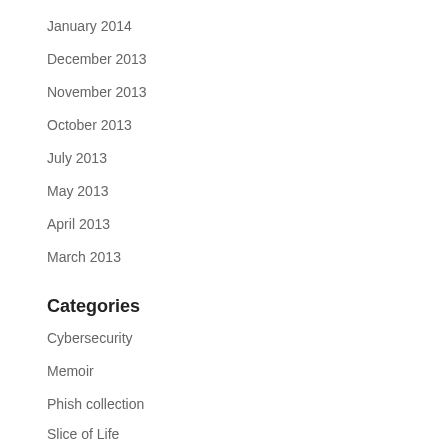January 2014
December 2013
November 2013
October 2013
July 2013
May 2013
April 2013
March 2013
Categories
Cybersecurity
Memoir
Phish collection
Slice of Life
Technology